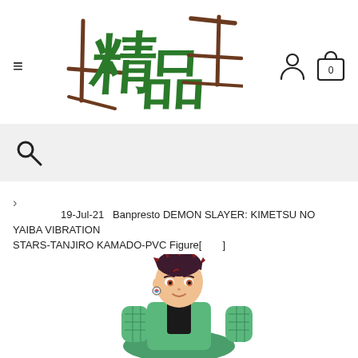[Figure (logo): Chinese characters logo for a shop, written in calligraphy style with green and brown ink]
[Figure (illustration): Search bar with magnifying glass icon on light grey background]
>
19-Jul-21   Banpresto DEMON SLAYER: KIMETSU NO YAIBA VIBRATION STARS-TANJIRO KAMADO-PVC Figure[　　]
[Figure (photo): Tanjiro Kamado PVC figure from Demon Slayer, showing the character from waist up with green haori and dark spiky hair with red tips]